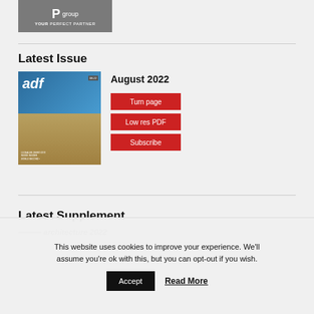[Figure (logo): P group logo with tagline YOUR PERFECT PARTNER on grey background]
Latest Issue
[Figure (photo): ADF magazine cover for August 2022 showing a building facade with blue sky]
August 2022
Turn page
Low res PDF
Subscribe
Latest Supplement
This website uses cookies to improve your experience. We'll assume you're ok with this, but you can opt-out if you wish.
Accept
Read More